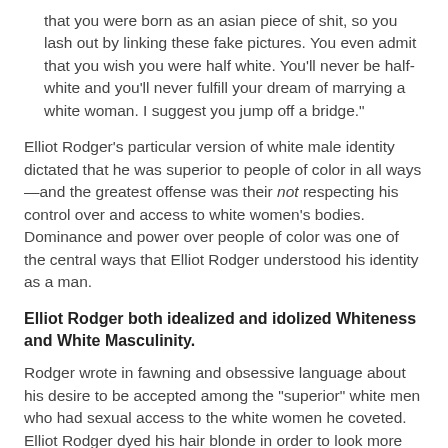that you were born as an asian piece of shit, so you lash out by linking these fake pictures. You even admit that you wish you were half white. You'll never be half-white and you'll never fulfill your dream of marrying a white woman. I suggest you jump off a bridge."
Elliot Rodger’s particular version of white male identity dictated that he was superior to people of color in all ways—and the greatest offense was their not respecting his control over and access to white women’s bodies. Dominance and power over people of color was one of the central ways that Elliot Rodger understood his identity as a man.
Elliot Rodger both idealized and idolized Whiteness and White Masculinity.
Rodger wrote in fawning and obsessive language about his desire to be accepted among the “superior” white men who had sexual access to the white women he coveted. Elliot Rodger dyed his hair blonde in order to look more like a white person.